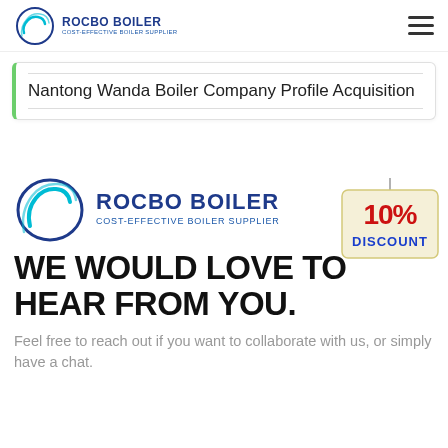ROCBO BOILER COST-EFFECTIVE BOILER SUPPLIER
Nantong Wanda Boiler Company Profile Acquisition
[Figure (logo): 10% DISCOUNT badge in red text on a cream-colored hanging sign]
[Figure (logo): Rocbo Boiler logo - large version with blue text and teal swirl icon, COST-EFFECTIVE BOILER SUPPLIER subtitle]
WE WOULD LOVE TO HEAR FROM YOU.
Feel free to reach out if you want to collaborate with us, or simply have a chat.